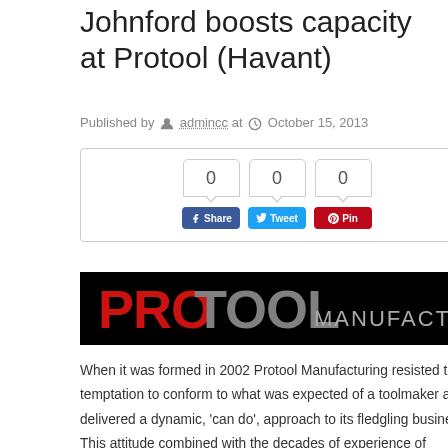Johnford boosts capacity at Protool (Havant)
Published by admincc at October 15, 2013
[Figure (screenshot): Social share widget with three count boxes showing 0 each, and Facebook Share, Twitter Tweet, and Pinterest Pin buttons]
[Figure (logo): Protool Manufacturing logo: PROTOOL in bold red/grey on black background with MANUFACTURING in grey]
When it was formed in 2002 Protool Manufacturing resisted the temptation to conform to what was expected of a toolmaker and delivered a dynamic, 'can do', approach to its fledgling business. This attitude combined with the decades of experience of